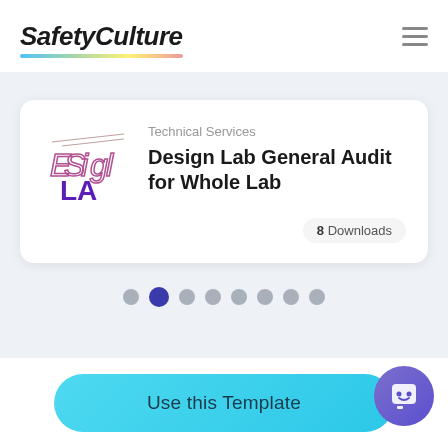SafetyCulture
Technical Services
Design Lab General Audit for Whole Lab
8 Downloads
Use this Template